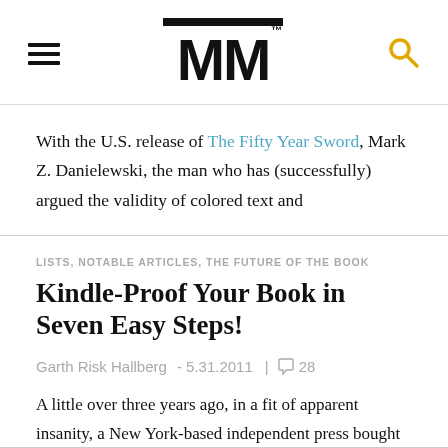MM (logo with hamburger menu and search icon)
With the U.S. release of The Fifty Year Sword, Mark Z. Danielewski, the man who has (successfully) argued the validity of colored text and
LISTS, NOTABLE ARTICLES, THE FUTURE OF THE BOOK
Kindle-Proof Your Book in Seven Easy Steps!
Garth Risk Hallberg - 5.31.2011 | 28
A little over three years ago, in a fit of apparent insanity, a New York-based independent press bought a sizeable chunk of the short-story